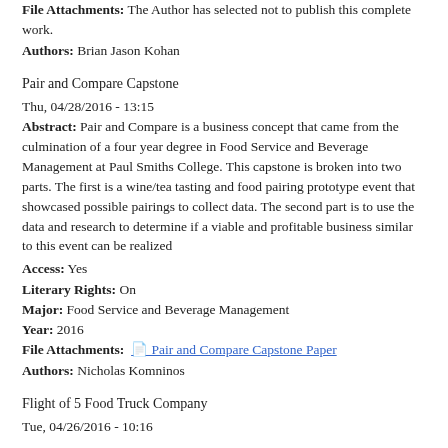File Attachments: The Author has selected not to publish this complete work.
Authors: Brian Jason Kohan
Pair and Compare Capstone
Thu, 04/28/2016 - 13:15
Abstract: Pair and Compare is a business concept that came from the culmination of a four year degree in Food Service and Beverage Management at Paul Smiths College. This capstone is broken into two parts. The first is a wine/tea tasting and food pairing prototype event that showcased possible pairings to collect data. The second part is to use the data and research to determine if a viable and profitable business similar to this event can be realized
Access: Yes
Literary Rights: On
Major: Food Service and Beverage Management
Year: 2016
File Attachments: Pair and Compare Capstone Paper
Authors: Nicholas Komninos
Flight of 5 Food Truck Company
Tue, 04/26/2016 - 10:16